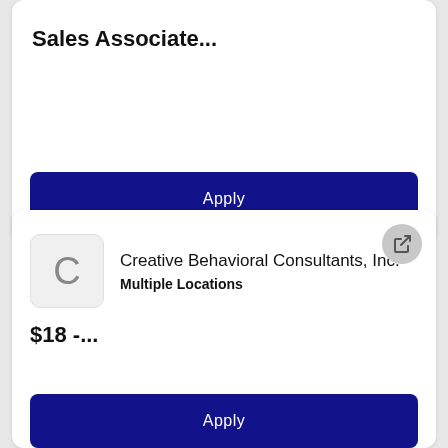Sales Associate...
Apply
Creative Behavioral Consultants, Inc.
Multiple Locations
$18 -...
Apply